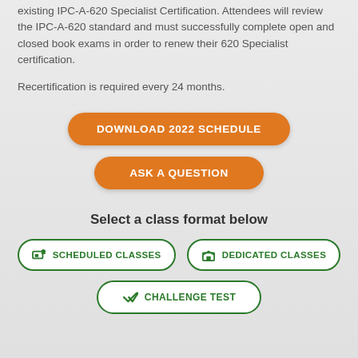existing IPC-A-620 Specialist Certification. Attendees will review the IPC-A-620 standard and must successfully complete open and closed book exams in order to renew their 620 Specialist certification.
Recertification is required every 24 months.
[Figure (other): Orange rounded button labeled DOWNLOAD 2022 SCHEDULE]
[Figure (other): Orange rounded button labeled ASK A QUESTION]
Select a class format below
[Figure (other): Green outline rounded button with person icon labeled SCHEDULED CLASSES]
[Figure (other): Green outline rounded button with building icon labeled DEDICATED CLASSES]
[Figure (other): Green outline rounded button with checkmark icon labeled CHALLENGE TEST]